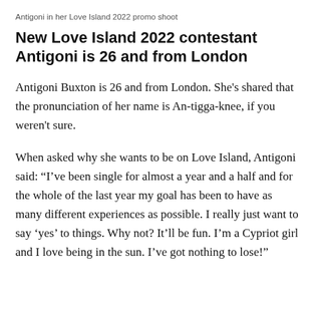Antigoni in her Love Island 2022 promo shoot
New Love Island 2022 contestant Antigoni is 26 and from London
Antigoni Buxton is 26 and from London. She's shared that the pronunciation of her name is An-tigga-knee, if you weren't sure.
When asked why she wants to be on Love Island, Antigoni said: “I’ve been single for almost a year and a half and for the whole of the last year my goal has been to have as many different experiences as possible. I really just want to say ‘yes’ to things. Why not? It’ll be fun. I’m a Cypriot girl and I love being in the sun. I’ve got nothing to lose!”